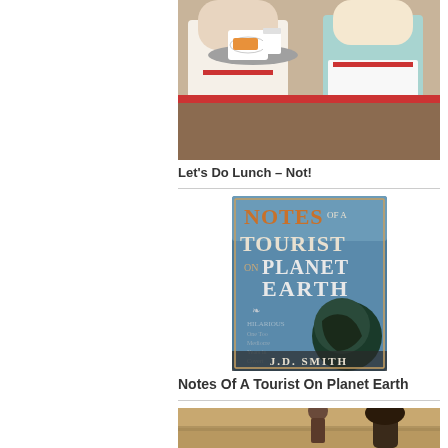[Figure (photo): Two waitresses in white uniforms carrying trays with food and drinks, retro diner style illustration]
Let’s Do Lunch – Not!
[Figure (photo): Book cover of 'Notes of a Tourist on Planet Earth' by J.D. Smith, showing vintage typography and an image of Earth]
Notes Of A Tourist On Planet Earth
[Figure (photo): Partial image of a person outdoors in a field, partially cropped at bottom of page]